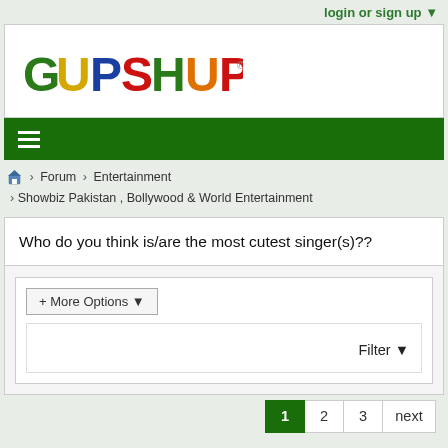login or sign up ▼
[Figure (logo): Gupshup colorful logo with letters in green, yellow, blue, red, orange colors]
≡
> Forum > Entertainment > Showbiz Pakistan , Bollywood & World Entertainment
Who do you think is/are the most cutest singer(s)??
+ More Options ▾
Filter ▼
1  2  3  next